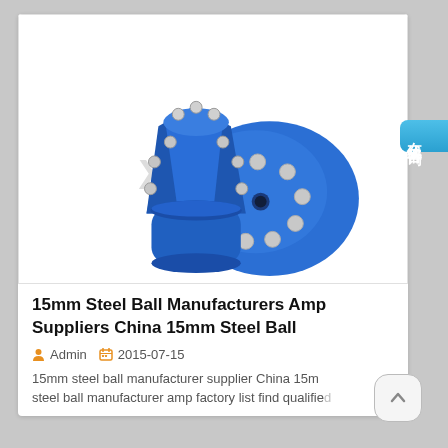[Figure (photo): Two blue steel ball button drill bits with silver carbide inserts/buttons on a white background with a watermark]
15mm Steel Ball Manufacturers Amp Suppliers China 15mm Steel Ball
Admin   2015-07-15
15mm steel ball manufacturer supplier China 15mm steel ball manufacturer amp factory list find qualifie...